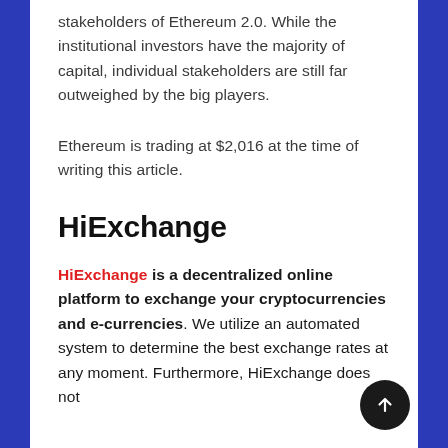stakeholders of Ethereum 2.0. While the institutional investors have the majority of capital, individual stakeholders are still far outweighed by the big players.
Ethereum is trading at $2,016 at the time of writing this article.
HiExchange
HiExchange is a decentralized online platform to exchange your cryptocurrencies and e-currencies. We utilize an automated system to determine the best exchange rates at any moment. Furthermore, HiExchange does not